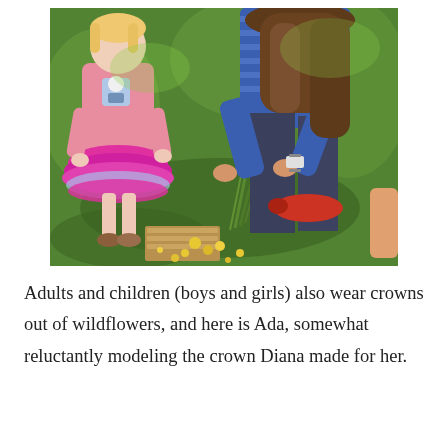[Figure (photo): A young girl in a pink shirt and bright pink ruffled tutu skirt stands on grass watching an adult woman with long brown hair crouching down, tying or arranging a bundle of wildflowers (yellow dandelions and green stems) on the lawn.]
Adults and children (boys and girls) also wear crowns out of wildflowers, and here is Ada, somewhat reluctantly modeling the crown Diana made for her.